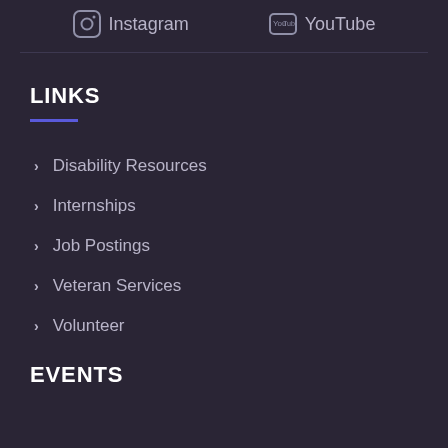Instagram  YouTube
LINKS
Disability Resources
Internships
Job Postings
Veteran Services
Volunteer
EVENTS